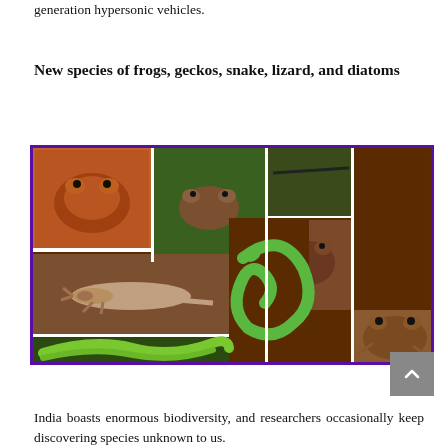generation hypersonic vehicles.
New species of frogs, geckos, snake, lizard, and diatoms
[Figure (photo): Collage of newly discovered species including frogs, a gecko/lizard, a green snake, and other reptiles, bordered in purple.]
India boasts enormous biodiversity, and researchers occasionally keep discovering species unknown to us.